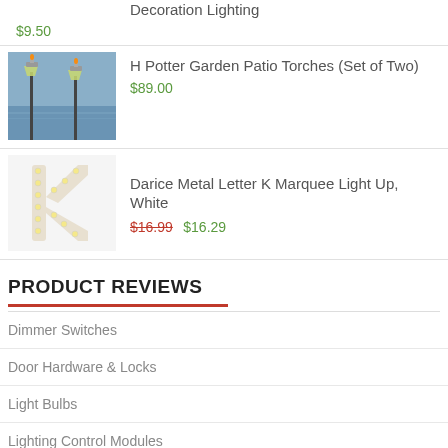Decoration Lighting
$9.50
[Figure (photo): Two garden patio torches with glass vessels on tall stakes, outdoors near water]
H Potter Garden Patio Torches (Set of Two)
$89.00
[Figure (photo): White metal letter K marquee light up decoration with small bulbs]
Darice Metal Letter K Marquee Light Up, White
$16.99  $16.29
PRODUCT REVIEWS
Dimmer Switches
Door Hardware & Locks
Light Bulbs
Lighting Control Modules
Outlets & Accessories